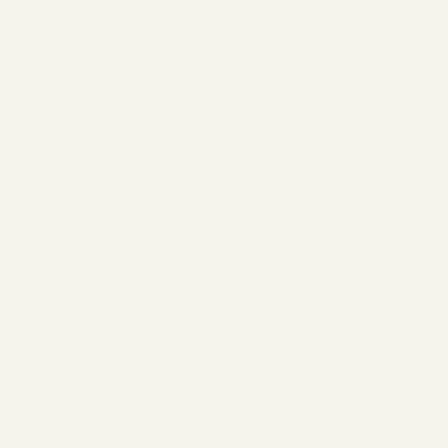Abstract
Ruth M... André...
This w... clothe...
Description
The w... and J... choru... split a...
These... enters... appea... all kne... greete... the gu... way in... stops...
They...